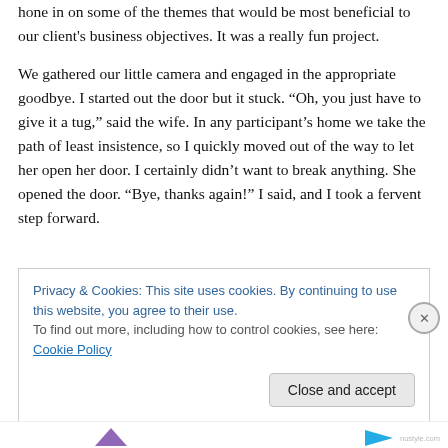hone in on some of the themes that would be most beneficial to our client's business objectives. It was a really fun project.
We gathered our little camera and engaged in the appropriate goodbye. I started out the door but it stuck. “Oh, you just have to give it a tug,” said the wife. In any participant’s home we take the path of least insistence, so I quickly moved out of the way to let her open her door. I certainly didn’t want to break anything. She opened the door. “Bye, thanks again!” I said, and I took a fervent step forward.
Privacy & Cookies: This site uses cookies. By continuing to use this website, you agree to their use.
To find out more, including how to control cookies, see here: Cookie Policy